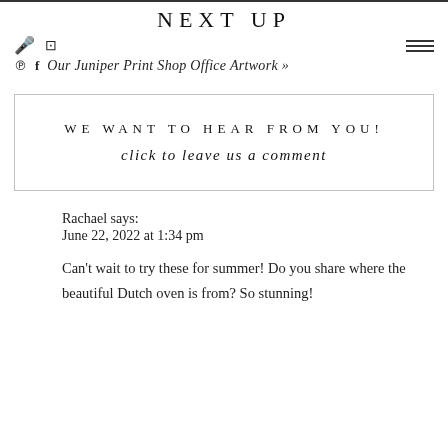NEXT UP
🎤 📷
℗ f Our Juniper Print Shop Office Artwork »
WE WANT TO HEAR FROM YOU!
click to leave us a comment
Rachael says:
June 22, 2022 at 1:34 pm

Can't wait to try these for summer! Do you share where the beautiful Dutch oven is from? So stunning!